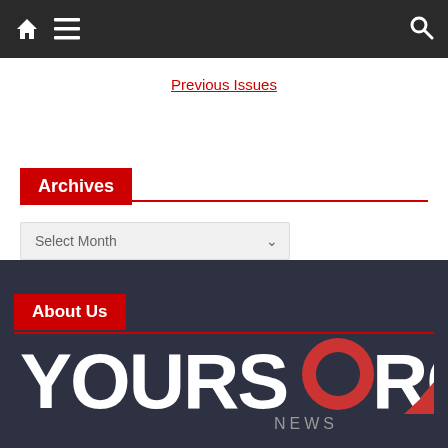Navigation bar with home, menu, and search icons
Previous Issues
Archives
Select Month
About Us
[Figure (logo): YOURSOURCE NEWS logo — white bold text with red circular O, NEWS in grey below, red arrow accent bottom right]